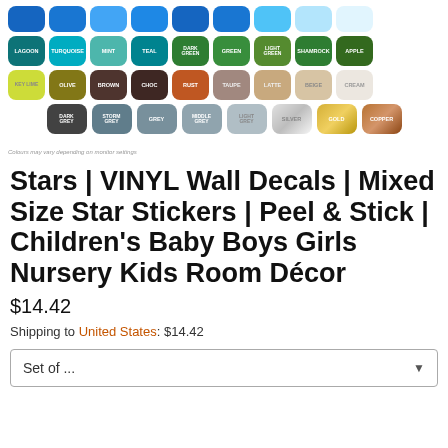[Figure (infographic): Color swatch grid showing available vinyl colors including blues, teals, greens, earth tones, greys, gold, and copper]
Colours may vary depending on monitor settings
Stars | VINYL Wall Decals | Mixed Size Star Stickers | Peel & Stick | Children's Baby Boys Girls Nursery Kids Room Décor
$14.42
Shipping to United States: $14.42
Set of ...